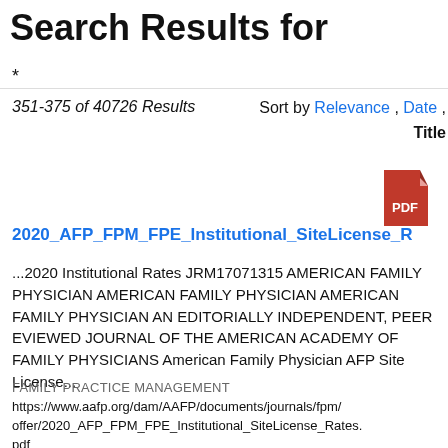Search Results for
*
351-375 of 40726 Results    Sort by Relevance , Date , Title
[Figure (other): Red PDF file icon]
2020_AFP_FPM_FPE_Institutional_SiteLicense_R...
...2020 Institutional Rates JRM17071315 AMERICAN FAMILY PHYSICIAN AMERICAN FAMILY PHYSICIAN AMERICAN FAMILY PHYSICIAN AN EDITORIALLY INDEPENDENT, PEER EVIEWED JOURNAL OF THE AMERICAN ACADEMY OF FAMILY PHYSICIANS American Family Physician AFP Site License...
FAMILY PRACTICE MANAGEMENT
https://www.aafp.org/dam/AAFP/documents/journals/fpm/offer/2020_AFP_FPM_FPE_Institutional_SiteLicense_Rates.pdf